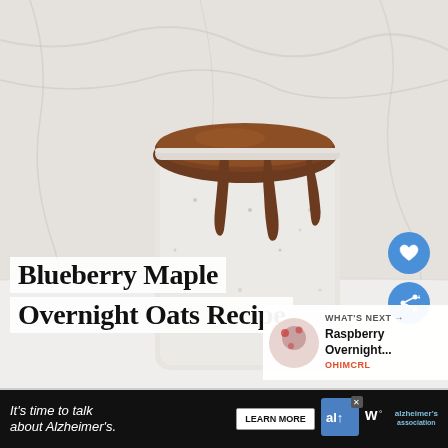[Figure (photo): A glass jar with white/cream colored overnight oats topped with glossy chocolate-brown sauce dripping down the sides, set against a marble background]
Blueberry Maple Overnight Oats Recipe
WHAT'S NEXT → Raspberry Overnight... OHIMCRL
It's time to talk about Alzheimer's. LEARN MORE alzheimer's association